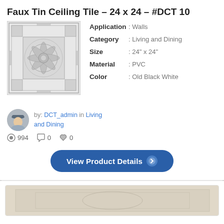Faux Tin Ceiling Tile – 24 x 24 – #DCT 10
[Figure (photo): Square decorative ceiling tile with embossed floral/starburst pattern, black and white, ornate border]
| Application | : Walls |
| Category | : Living and Dining |
| Size | : 24" x 24" |
| Material | : PVC |
| Color | : Old Black White |
[Figure (photo): Small circular avatar photo of a person wearing a cap]
by: DCT_admin in Living and Dining
994   0   0
View Product Details
[Figure (photo): Partial view of another decorative tile product at the bottom of the page]